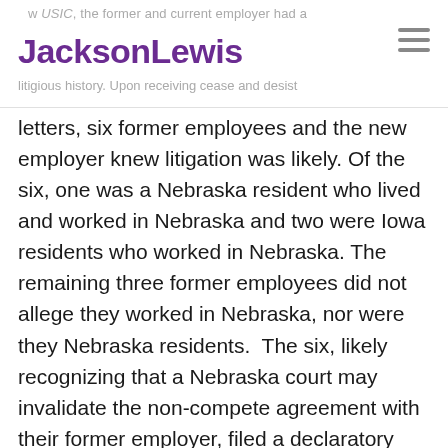w USIC, the former and current employer had a litigious history. Upon receiving cease and desist
letters, six former employees and the new employer knew litigation was likely. Of the six, one was a Nebraska resident who lived and worked in Nebraska and two were Iowa residents who worked in Nebraska. The remaining three former employees did not allege they worked in Nebraska, nor were they Nebraska residents.  The six, likely recognizing that a Nebraska court may invalidate the non-compete agreement with their former employer, filed a declaratory judgment lawsuit in Nebraska federal court. The six asked the court to declare their agreements void and enjoin their former employer from future litigation relating to the restrictive covenant agreements.  Almost simultaneously, the